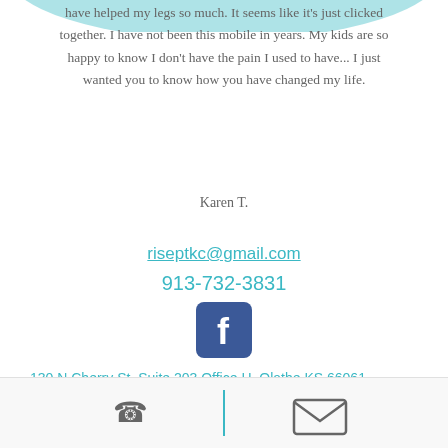have helped my legs so much. It seems like it's just clicked together. I have not been this mobile in years. My kids are so happy to know I don't have the pain I used to have... I just wanted you to know how you have changed my life.
Karen T.
riseptkc@gmail.com
913-732-3831
[Figure (logo): Facebook logo icon - blue rounded square with white F]
130 N Cherry St, Suite 203 Office H, Olathe KS 66061
[Figure (infographic): Footer bar with phone icon on left and email envelope icon on right, separated by a teal vertical divider line]